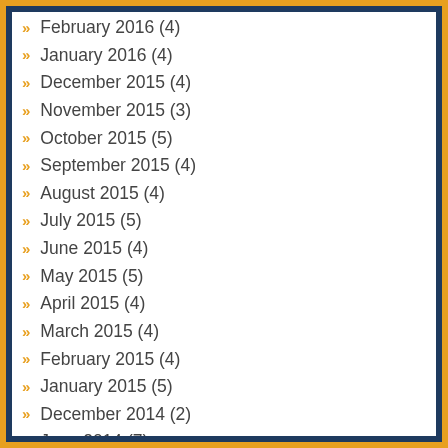February 2016 (4)
January 2016 (4)
December 2015 (4)
November 2015 (3)
October 2015 (5)
September 2015 (4)
August 2015 (4)
July 2015 (5)
June 2015 (4)
May 2015 (5)
April 2015 (4)
March 2015 (4)
February 2015 (4)
January 2015 (5)
December 2014 (2)
June 2014 (7)
May 2014 (14)